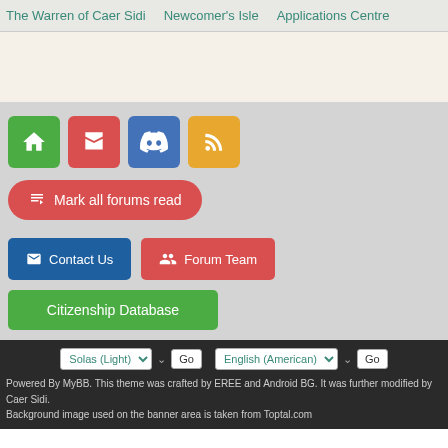The Warren of Caer Sidi   Newcomer's Isle   Applications Centre
[Figure (other): Banner area with light beige background]
[Figure (other): Four icon buttons: green home, red archive, blue Discord, orange RSS feed]
Mark all forums read
Contact Us
Forum Team
Citizenship Database
Solas (Light) Go   English (American) Go
Powered By MyBB. This theme was crafted by EREE and Android BG. It was further modified by Caer Sidi.
Background image used on the banner area is taken from Toptal.com